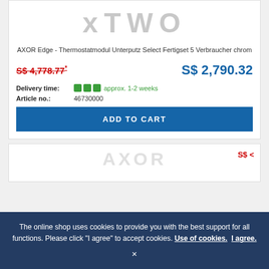[Figure (logo): AXOR logo watermark in large grey letters]
AXOR Edge - Thermostatmodul Unterputz Select Fertigset 5 Verbraucher chrom
S$ 4,778.77* S$ 2,790.32
Delivery time: approx. 1-2 weeks
Article no.: 46730000
ADD TO CART
The online shop uses cookies to provide you with the best support for all functions. Please click "I agree" to accept cookies. Use of cookies. I agree.